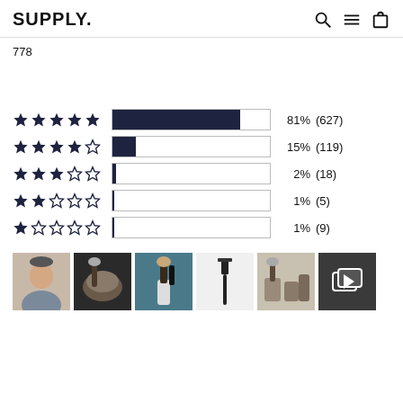SUPPLY.
778
[Figure (infographic): Star rating breakdown bar chart showing: 5 stars 81% (627), 4 stars 15% (119), 3 stars 2% (18), 2 stars 1% (5), 1 star 1% (9)]
[Figure (photo): Strip of 6 product/review photos including a man's face, shaving products, a razor, shaving brush set, and a gallery icon]